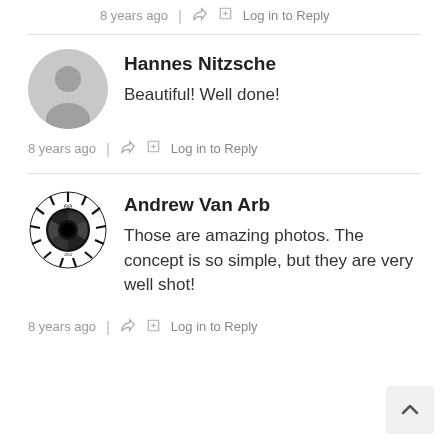8 years ago | Log in to Reply
Hannes Nitzsche
Beautiful! Well done!
8 years ago | Log in to Reply
Andrew Van Arb
Those are amazing photos. The concept is so simple, but they are very well shot!
8 years ago | Log in to Reply